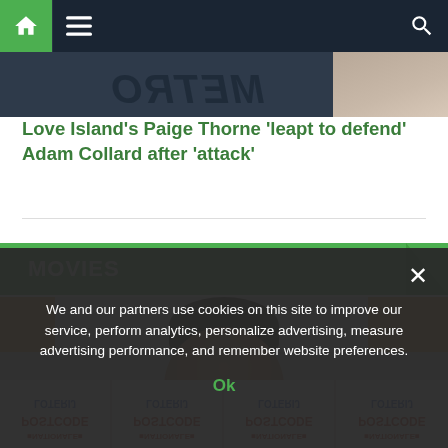Navigation bar with home, menu, and search icons
[Figure (photo): Top partial image strip showing a mirrored/flipped website logo text and a person's shoulder/arm in the background]
Love Island's Paige Thorne 'leapt to defend' Adam Collard after 'attack'
MOVIES
[Figure (photo): Photo of a man (resembling Leonardo DiCaprio) at a Nationale Postcode Loterij event, with repeated lottery banners in the background shown mirrored/reversed]
We and our partners use cookies on this site to improve our service, perform analytics, personalize advertising, measure advertising performance, and remember website preferences.